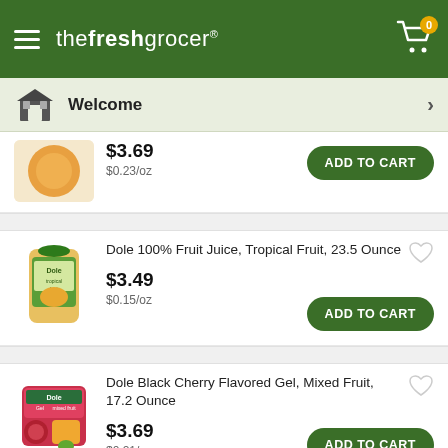thefreshgrocer
Welcome
$3.69
$0.23/oz
Dole 100% Fruit Juice, Tropical Fruit, 23.5 Ounce
$3.49
$0.15/oz
Dole Black Cherry Flavored Gel, Mixed Fruit, 17.2 Ounce
$3.69
$0.21/oz